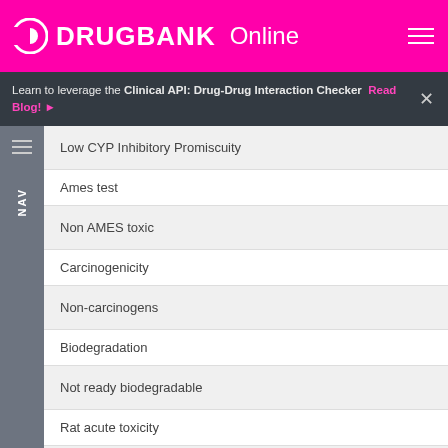DRUGBANK Online
Learn to leverage the Clinical API: Drug-Drug Interaction Checker  Read Blog!
Low CYP Inhibitory Promiscuity
Ames test
Non AMES toxic
Carcinogenicity
Non-carcinogens
Biodegradation
Not ready biodegradable
Rat acute toxicity
2.4805 LD50, mol/kg
hERG inhibition (predictor I)